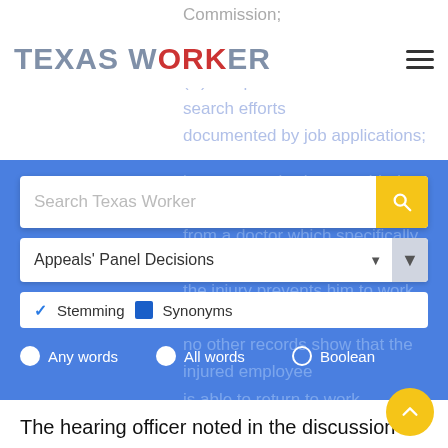Commission;
TEXAS WORKER
(D) has performed active work search efforts documented by job applications; or
Search Texas Worker
Appeals' Panel Decisions
✓ Stemming  ☑ Synonyms
● Any words   ● All words   ○ Boolean
The hearing officer noted in the discussion portion of her decision that the claimant provided documentation of her work search efforts. The hearing officer further noted that the parties stipulated that the claimant was required to make at least 6 job search contacts per week to qualify for SIBs and that the claimant had done so by completing online job applications through